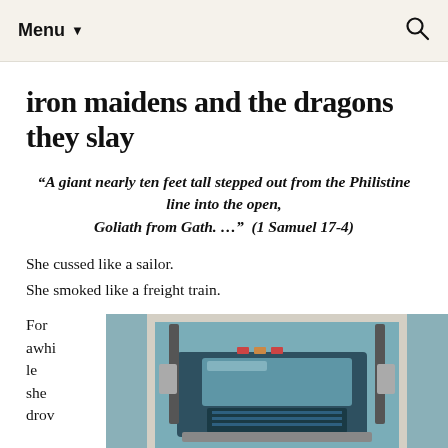Menu ▼
iron maidens and the dragons they slay
“A giant nearly ten feet tall stepped out from the Philistine line into the open, Goliath from Gath. …”  (1 Samuel 17-4)
She cussed like a sailor.
She smoked like a freight train.
For awhile she drov
[Figure (photo): Old polaroid-style photograph of the front cab of a large truck or semi, teal/dark colored, taken outdoors.]